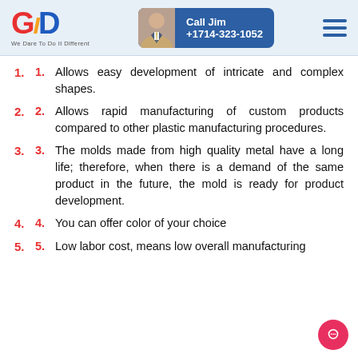[Figure (logo): GID logo with tagline 'We Dare To Do It Different']
[Figure (infographic): Call Jim button with photo +1714-323-1052]
Allows easy development of intricate and complex shapes.
Allows rapid manufacturing of custom products compared to other plastic manufacturing procedures.
The molds made from high quality metal have a long life; therefore, when there is a demand of the same product in the future, the mold is ready for product development.
You can offer color of your choice
Low labor cost, means low overall manufacturing